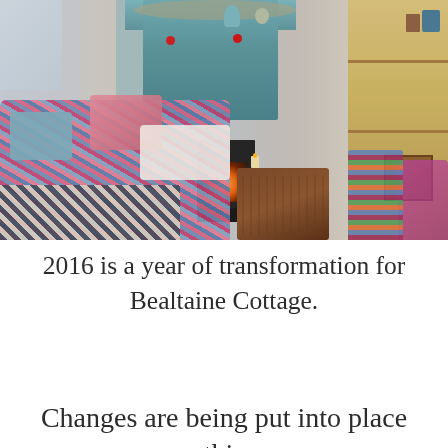[Figure (photo): Interior of a cozy cottage living room with colorful patchwork sofas and blankets, a lit wood-burning stove in a teal painted fireplace surround decorated with ornaments and dried branches, a wicker/wooden coffee trunk, wooden furniture on the right with shelves and a dresser, and a window on the left letting in natural light.]
2016 is a year of transformation for Bealtaine Cottage.
Changes are being put into place this